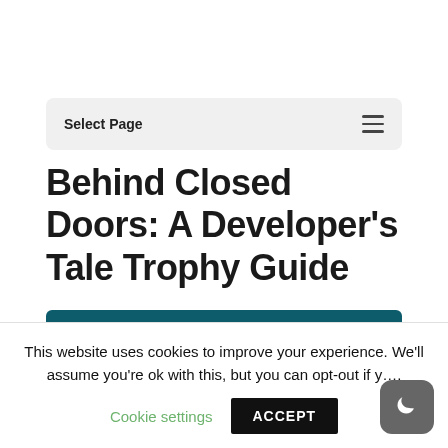Select Page
Behind Closed Doors: A Developer's Tale Trophy Guide
Game: Behind Closed Doors: A Developer's Tale
Peripherals:
This website uses cookies to improve your experience. We'll assume you're ok with this, but you can opt-out if y….
Cookie settings
ACCEPT